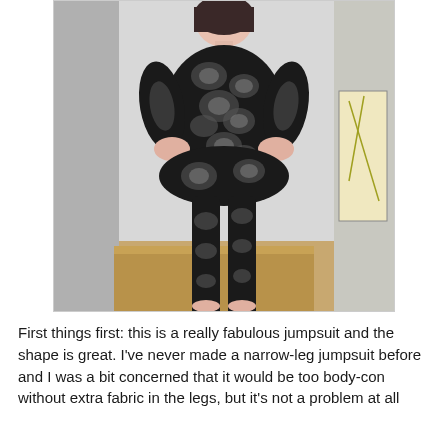[Figure (photo): A woman photographed from behind, wearing a black floral jumpsuit with grey flower patterns and short sleeves. She has her hands on her hips. The jumpsuit has narrow legs. She is standing in a room with a white wall and wooden floor visible.]
First things first: this is a really fabulous jumpsuit and the shape is great. I've never made a narrow-leg jumpsuit before and I was a bit concerned that it would be too body-con without extra fabric in the legs, but it's not a problem at all